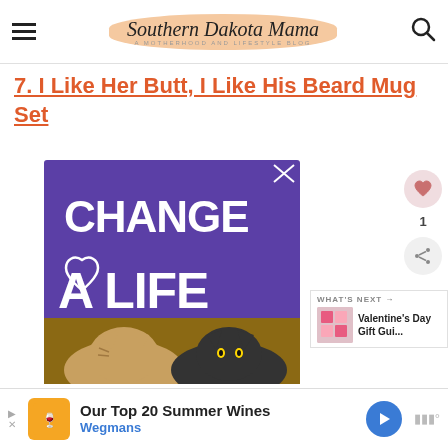Southern Dakota Mama — A Motherhood and Lifestyle Blog
7. I Like Her Butt, I Like His Beard Mug Set
[Figure (advertisement): Purple background advertisement with bold white text reading 'CHANGE A LIFE' with a heart outline, and two cats at the bottom]
[Figure (infographic): What's Next panel showing Valentine's Day Gift Gui... thumbnail]
[Figure (advertisement): Bottom banner ad: Our Top 20 Summer Wines - Wegmans]